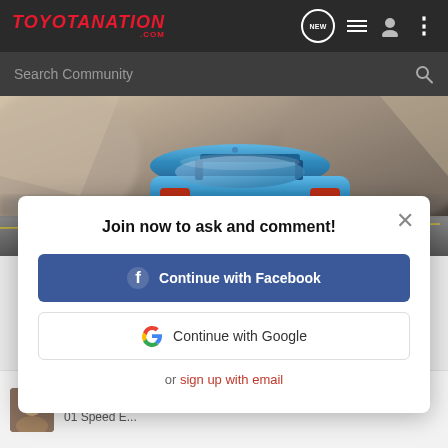[Figure (screenshot): ToyotaNation.com website navigation bar with logo, NEW bubble icon, list icon, user icon, and dots menu]
[Figure (screenshot): Search Community search bar with magnifying glass icon on dark background]
[Figure (photo): Blue Toyota sports car (rear view) speeding on a road with rocky landscape background]
Join now to ask and comment!
[Figure (other): Continue with Facebook button (blue with Facebook logo)]
[Figure (other): Continue with Google button (white with Google logo)]
or sign up with email
EEngineer · Born to Drive 🇺🇸